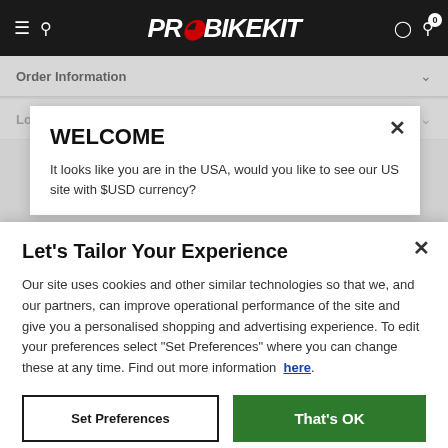[Figure (screenshot): ProBikeKit website navigation bar with hamburger menu, search icon, logo, user icon, and cart icon with 0 badge]
Order Information
Loyalty & Rewards
WELCOME
It looks like you are in the USA, would you like to see our US site with $USD currency?
Let's Tailor Your Experience
Our site uses cookies and other similar technologies so that we, and our partners, can improve operational performance of the site and give you a personalised shopping and advertising experience. To edit your preferences select “Set Preferences” where you can change these at any time. Find out more information here.